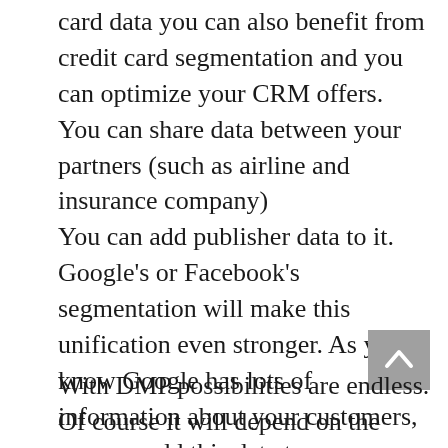card data you can also benefit from credit card segmentation and you can optimize your CRM offers. You can share data between your partners (such as airline and insurance company) You can add publisher data to it. Google's or Facebook's segmentation will make this unification even stronger. As you know Google has lots of information about your customers, you can add this data to your intelligence.
With DMP possibilities are endless. Of course it will depend on the DMP you will be using. Please remember identifying customers online takes some time. So you will start to get